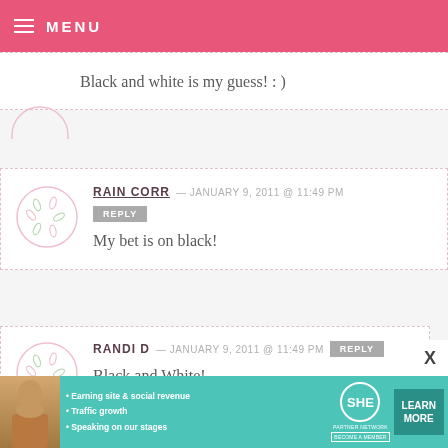MENU
Black and white is my guess! : )
RAIN CORR — JANUARY 9, 2011 @ 11:49 PM
REPLY
My bet is on black!
RANDI D — JANUARY 9, 2011 @ 11:49 PM
REPLY
Black and White!
[Figure (infographic): SHE Partner Network advertisement banner with photo of woman, bullets: Earning site & social revenue, Traffic growth, Speaking on our stages. LEARN MORE button.]